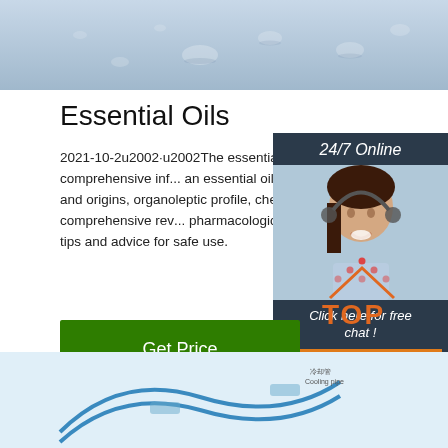[Figure (photo): Blue-grey water droplets background image at top of page]
Essential Oils
2021-10-2u2002·u2002The essential oil monographs provide us with the most detailed and comprehensive information about an essential oil. Each monograph includes a description, botany and origins, organoleptic profile, chemical profile, history and traditional uses, a comprehensive review of pharmacological and clinical studies, actions and indications, blending tips and advice for safe use.
[Figure (photo): Sidebar with 24/7 Online header, customer service representative photo with headset, 'Click here for free chat!' text, and orange QUOTATION button]
Get Price
[Figure (logo): Orange and red TOP logo with dot pattern]
[Figure (engineering-diagram): Partial engineering diagram showing cooling pipe (冷却管 Cooling pipe) at bottom of page]